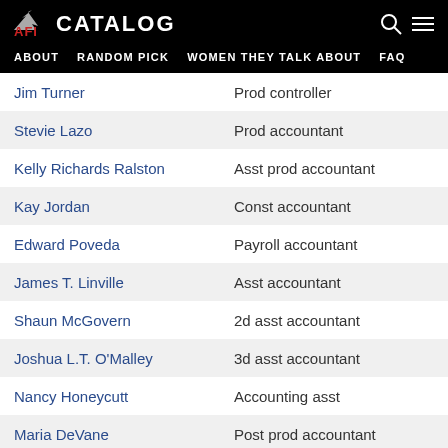AFI CATALOG | ABOUT | RANDOM PICK | WOMEN THEY TALK ABOUT | FAQ
| Name | Role |
| --- | --- |
| Jim Turner | Prod controller |
| Stevie Lazo | Prod accountant |
| Kelly Richards Ralston | Asst prod accountant |
| Kay Jordan | Const accountant |
| Edward Poveda | Payroll accountant |
| James T. Linville | Asst accountant |
| Shaun McGovern | 2d asst accountant |
| Joshua L.T. O'Malley | 3d asst accountant |
| Nancy Honeycutt | Accounting asst |
| Maria DeVane | Post prod accountant |
| Cris Clarke | Asst to Mr. Spielberg |
| Keri Wilson | Asst to Mr. Spielberg |